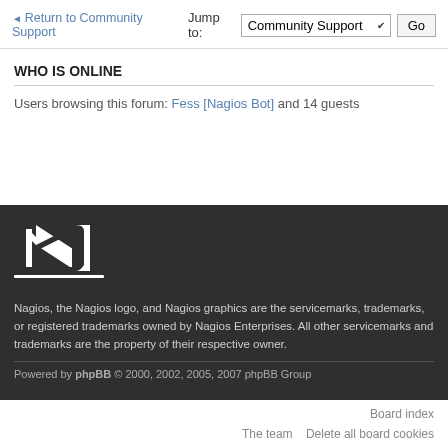Return to Community Support
Jump to: Community Support Go
WHO IS ONLINE
Users browsing this forum: Fess [Nagios Bot] and 14 guests
[Figure (logo): Nagios logo: white stylized N letter with underline on dark background]
Nagios, the Nagios logo, and Nagios graphics are the servicemarks, trademarks, or registered trademarks owned by Nagios Enterprises. All other servicemarks and trademarks are the property of their respective owner.
Powered by phpBB © 2000, 2002, 2005, 2007 phpBB Group
Board index  The team  Delete all board cookies